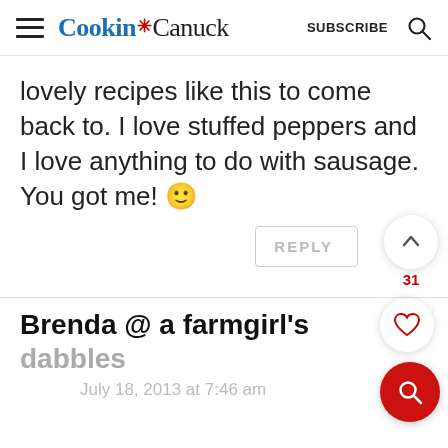Cookin' Canuck  SUBSCRIBE
lovely recipes like this to come back to. I love stuffed peppers and I love anything to do with sausage. You got me! 🙂
REPLY  31
Brenda @ a farmgirl's dabbles
July 18, 2013 at 7:46 am